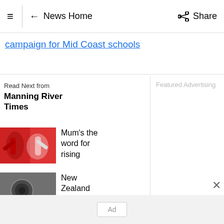≡ | ← News Home   Share
campaign for Mid Coast schools
Read Next from Manning River Times
[Figure (photo): Sports photo of players in red and white uniforms]
Mum's the word for rising
[Figure (photo): New Zealand related photo, dark toned image]
New Zealand readies for
[Figure (photo): Close-up photo of ant species]
Thousands of new ant species
Featured Advertising
Ad